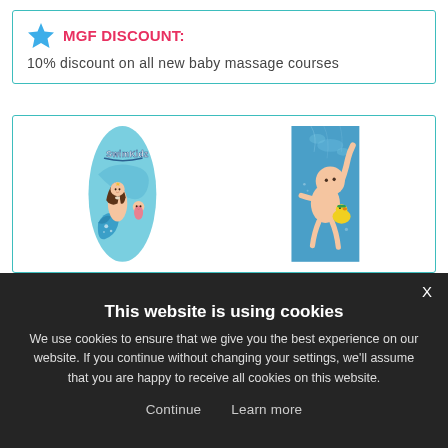MGF DISCOUNT: 10% discount on all new baby massage courses
[Figure (photo): Two images side by side: left shows a SwimKidz logo with a mermaid and baby cartoon on a round blue pool float; right shows a baby swimming underwater holding a yellow rubber duck toy.]
This website is using cookies
We use cookies to ensure that we give you the best experience on our website. If you continue without changing your settings, we'll assume that you are happy to receive all cookies on this website.
Continue  Learn more